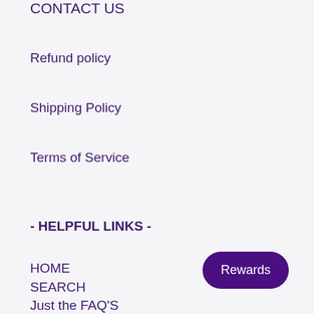CONTACT US
Refund policy
Shipping Policy
Terms of Service
- HELPFUL LINKS -
HOME
SEARCH
Just the FAQ'S